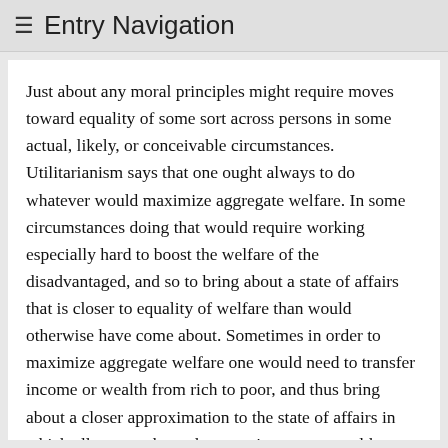≡ Entry Navigation
Just about any moral principles might require moves toward equality of some sort across persons in some actual, likely, or conceivable circumstances. Utilitarianism says that one ought always to do whatever would maximize aggregate welfare. In some circumstances doing that would require working especially hard to boost the welfare of the disadvantaged, and so to bring about a state of affairs that is closer to equality of welfare than would otherwise have come about. Sometimes in order to maximize aggregate welfare one would need to transfer income or wealth from rich to poor, and thus bring about a closer approximation to the state of affairs in which all persons have the same income or wealth or both. A Lockean natural rights view holds that one is always bound by a strict moral duty to respect everyone's natural rights, come what may. It might be that in some circumstances doing what brings about greater equality of some sort across persons would be a good means to bringing it about that one respects the natural